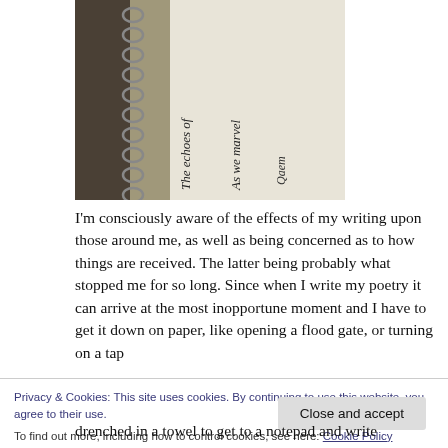[Figure (photo): A close-up photograph of a spiral-bound notebook showing handwritten text sideways: 'The echoes of', 'As we marvel', and partially visible cursive writing.]
I'm consciously aware of the effects of my writing upon those around me, as well as being concerned as to how things are received. The latter being probably what stopped me for so long. Since when I write my poetry it can arrive at the most inopportune moment and I have to get it down on paper, like opening a flood gate, or turning on a tap
Privacy & Cookies: This site uses cookies. By continuing to use this website, you agree to their use.
To find out more, including how to control cookies, see here: Cookie Policy
drenched in a towel to get to a notepad and write